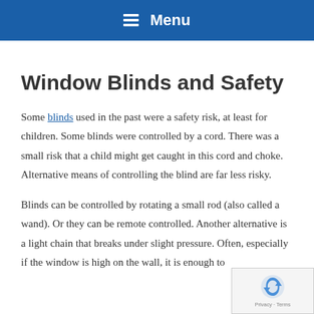Menu
Window Blinds and Safety
Some blinds used in the past were a safety risk, at least for children. Some blinds were controlled by a cord. There was a small risk that a child might get caught in this cord and choke. Alternative means of controlling the blind are far less risky.
Blinds can be controlled by rotating a small rod (also called a wand). Or they can be remote controlled. Another alternative is a light chain that breaks under slight pressure. Often, especially if the window is high on the wall, it is enough to